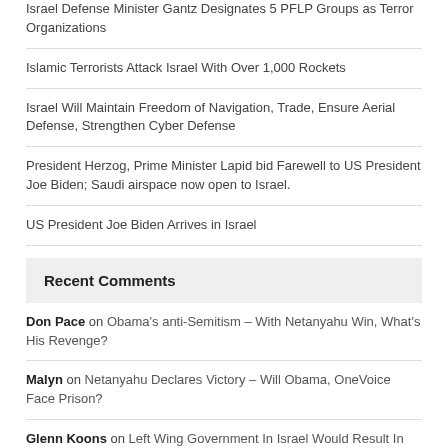Israel Defense Minister Gantz Designates 5 PFLP Groups as Terror Organizations
Islamic Terrorists Attack Israel With Over 1,000 Rockets
Israel Will Maintain Freedom of Navigation, Trade, Ensure Aerial Defense, Strengthen Cyber Defense
President Herzog, Prime Minister Lapid bid Farewell to US President Joe Biden; Saudi airspace now open to Israel.
US President Joe Biden Arrives in Israel
Recent Comments
Don Pace on Obama's anti-Semitism – With Netanyahu Win, What's His Revenge?
Malyn on Netanyahu Declares Victory – Will Obama, OneVoice Face Prison?
Glenn Koons on Left Wing Government In Israel Would Result In War